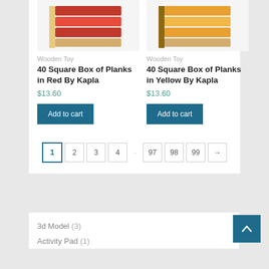[Figure (photo): Red wooden Kapla planks box product photo]
[Figure (photo): Yellow wooden Kapla planks box product photo]
Wooden Toy
40 Square Box of Planks in Red By Kapla
$13.60
Add to cart
Wooden Toy
40 Square Box of Planks in Yellow By Kapla
$13.60
Add to cart
1 2 3 4 . 97 98 99 →
3d Model (3)
Activity Pad (1)